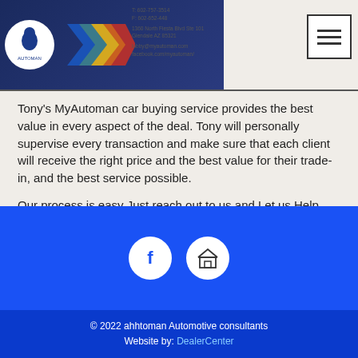[Figure (logo): MyAutoman header banner with logo circle, colored chevrons (blue, teal, yellow, orange, red), contact info text, and hamburger menu button]
Tony's MyAutoman car buying service provides the best value in every aspect of the deal. Tony will personally supervise every transaction and make sure that each client will receive the right price and the best value for their trade-in, and the best service possible.
Our process is easy Just reach out to us and Let us Help you with your Auto Buying Needs.
Click Contact Us:
Or Give Us Call Today 602-757-3514
[Figure (illustration): Blue footer area with two circular icon buttons: Facebook icon and a storefront/shop icon]
© 2022 ahhtoman Automotive consultants
Website by: DealerCenter